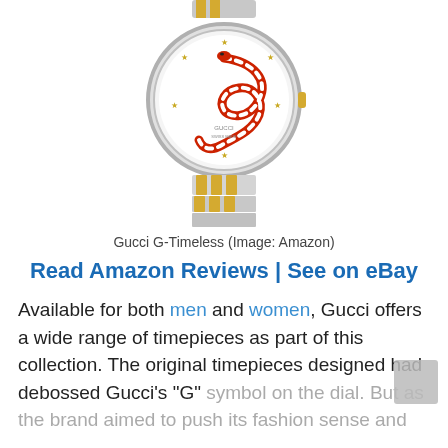[Figure (photo): Photo of a Gucci G-Timeless watch with a snake motif on the dial, silver and gold-tone bracelet]
Gucci G-Timeless (Image: Amazon)
Read Amazon Reviews | See on eBay
Available for both men and women, Gucci offers a wide range of timepieces as part of this collection. The original timepieces designed had debossed Gucci's “G” symbol on the dial. But as the brand aimed to push its fashion sense and